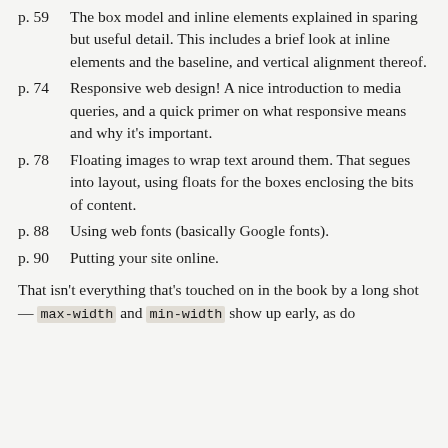p. 59	The box model and inline elements explained in sparing but useful detail.  This includes a brief look at inline elements and the baseline, and vertical alignment thereof.
p. 74	Responsive web design!  A nice introduction to media queries, and a quick primer on what responsive means and why it's important.
p. 78	Floating images to wrap text around them. That segues into layout, using floats for the boxes enclosing the bits of content.
p. 88	Using web fonts (basically Google fonts).
p. 90	Putting your site online.
That isn't everything that's touched on in the book by a long shot— max-width and min-width show up early, as do